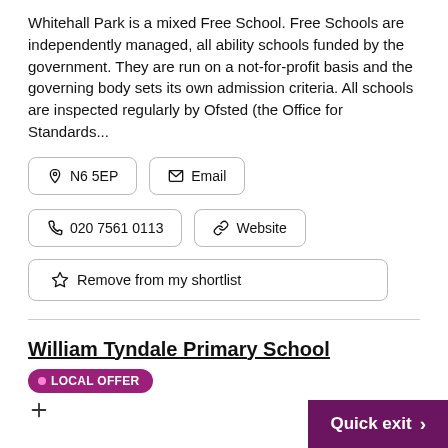Whitehall Park is a mixed Free School. Free Schools are independently managed, all ability schools funded by the government. They are run on a not-for-profit basis and the governing body sets its own admission criteria. All schools are inspected regularly by Ofsted (the Office for Standards...
N6 5EP
Email
020 7561 0113
Website
Remove from my shortlist
William Tyndale Primary School
LOCAL OFFER